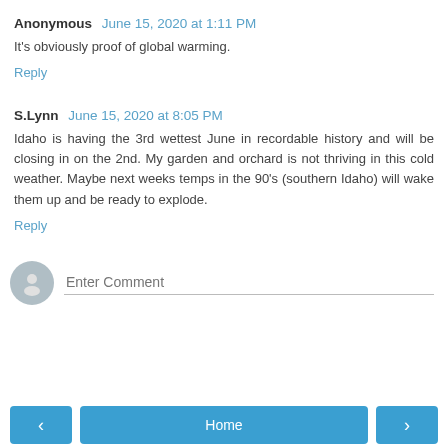Anonymous June 15, 2020 at 1:11 PM
It's obviously proof of global warming.
Reply
S.Lynn June 15, 2020 at 8:05 PM
Idaho is having the 3rd wettest June in recordable history and will be closing in on the 2nd. My garden and orchard is not thriving in this cold weather. Maybe next weeks temps in the 90's (southern Idaho) will wake them up and be ready to explode.
Reply
[Figure (other): Comment input area with user avatar icon and placeholder text 'Enter Comment']
< Home >